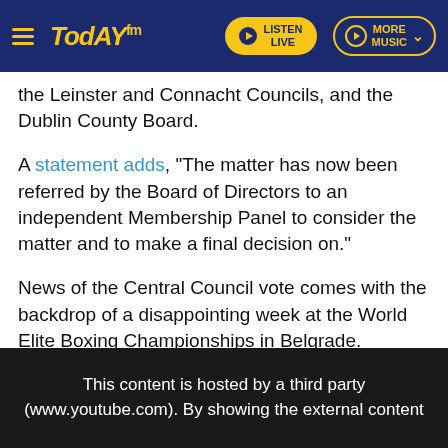[Figure (screenshot): Today FM website header with hamburger menu, Today FM logo in yellow italic, Listen Live button (yellow), and More Music button (outlined yellow) on dark navy background]
the Leinster and Connacht Councils, and the Dublin County Board.
A statement adds, "The matter has now been referred by the Board of Directors to an independent Membership Panel to consider the matter and to make a final decision on."
News of the Central Council vote comes with the backdrop of a disappointing week at the World Elite Boxing Championships in Belgrade.
An inexperienced team is yet to register a single victory with Ricky Nesbitt (48kg) and Keylan Cassidy (80kg) both in action on Saturday.
This content is hosted by a third party (www.youtube.com). By showing the external content